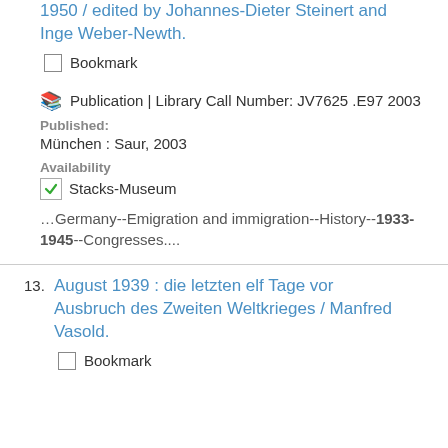1950 / edited by Johannes-Dieter Steinert and Inge Weber-Newth.
Bookmark
Publication | Library Call Number: JV7625 .E97 2003
Published: München : Saur, 2003
Availability
Stacks-Museum
…Germany--Emigration and immigration--History--1933-1945--Congresses....
13. August 1939 : die letzten elf Tage vor Ausbruch des Zweiten Weltkrieges / Manfred Vasold.
Bookmark